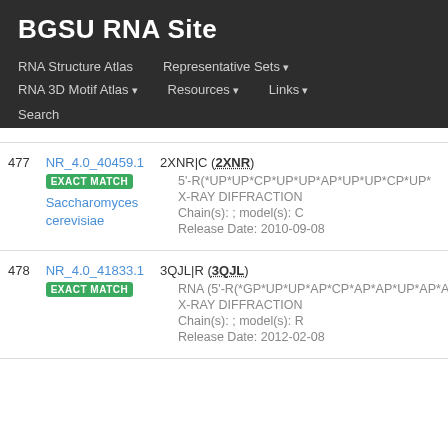BGSU RNA Site
RNA Structure Atlas | Representative Sets ▾ | RNA 3D Motif Atlas ▾ | Resources ▾ | Links ▾ | Search
| # | ID / Match / Species | Entry Details |
| --- | --- | --- |
| 477 | NR_4.0_40459.1 EXACT MATCH Saccharomyces cerevisiae | 2XNR|C (2XNR) • 5'-R(*UP*UP*CP*UP*UP*AP*UP*UP*CP*UP*... • X-RAY DIFFRACTION • Chain(s): ; model(s): C • Release Date: 2010-09-08 |
| 478 | NR_4.0_41833.1 EXACT MATCH | 3QJL|R (3QJL) • RNA (5'-R(*GP*UP*UP*AP*CP*AP*AP*UP*AP*AP[... • X-RAY DIFFRACTION • Chain(s): ; model(s): R • Release Date: 2012-02-08 |